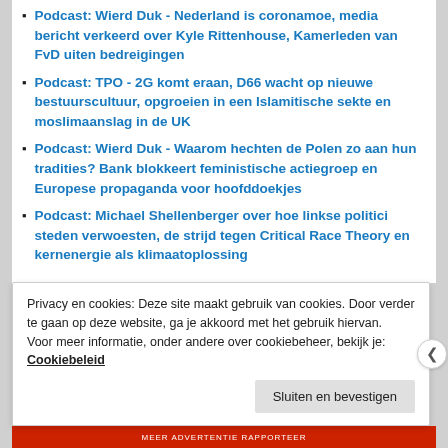Podcast: Wierd Duk - Nederland is coronamoe, media bericht verkeerd over Kyle Rittenhouse, Kamerleden van FvD uiten bedreigingen
Podcast: TPO - 2G komt eraan, D66 wacht op nieuwe bestuurscultuur, opgroeien in een Islamitische sekte en moslimaanslag in de UK
Podcast: Wierd Duk - Waarom hechten de Polen zo aan hun tradities? Bank blokkeert feministische actiegroep en Europese propaganda voor hoofddoekjes
Podcast: Michael Shellenberger over hoe linkse politici steden verwoesten, de strijd tegen Critical Race Theory en kernenergie als klimaatoplossing
Privacy en cookies: Deze site maakt gebruik van cookies. Door verder te gaan op deze website, ga je akkoord met het gebruik hiervan.
Voor meer informatie, onder andere over cookiebeheer, bekijk je:
Cookiebeleid
Sluiten en bevestigen